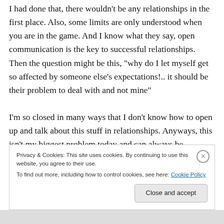I had done that, there wouldn't be any relationships in the first place. Also, some limits are only understood when you are in the game. And I know what they say, open communication is the key to successful relationships. Then the question might be this, “why do I let myself get so affected by someone else’s expectations!.. it should be their problem to deal with and not mine”

I’m so closed in many ways that I don’t know how to open up and talk about this stuff in relationships. Anyways, this isn’t my biggest problem today and can always be
Privacy & Cookies: This site uses cookies. By continuing to use this website, you agree to their use.
To find out more, including how to control cookies, see here: Cookie Policy